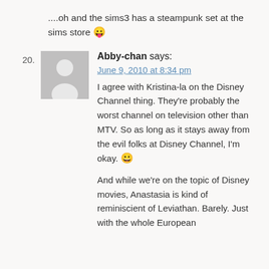....oh and the sims3 has a steampunk set at the sims store 😛
20.
[Figure (other): Default grey avatar placeholder image showing a silhouette of a person]
Abby-chan says:
June 9, 2010 at 8:34 pm
I agree with Kristina-la on the Disney Channel thing. They're probably the worst channel on television other than MTV. So as long as it stays away from the evil folks at Disney Channel, I'm okay. 😀
And while we're on the topic of Disney movies, Anastasia is kind of reminiscient of Leviathan. Barely. Just with the whole European